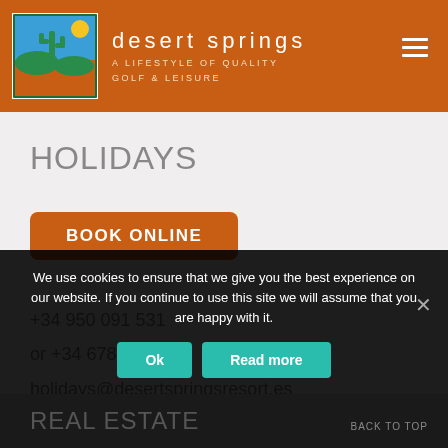[Figure (logo): Desert Springs logo with cactus, sun, and landscape illustration in a square frame]
desert springs
A LIFESTYLE OF QUALITY
GOLF & LEISURE
HOLIDAYS
BOOK ONLINE
+34 950 091 531
or +34 678 679 387
holidays@desertspringsresort.es
We use cookies to ensure that we give you the best experience on our website. If you continue to use this site we will assume that you are happy with it.
Ok
Read more
REAL ESTATE
BACK TO TOP